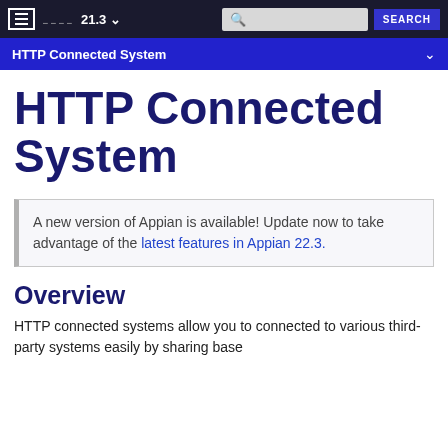21.3 SEARCH
HTTP Connected System
HTTP Connected System
A new version of Appian is available! Update now to take advantage of the latest features in Appian 22.3.
Overview
HTTP connected systems allow you to connected to various third-party systems easily by sharing base